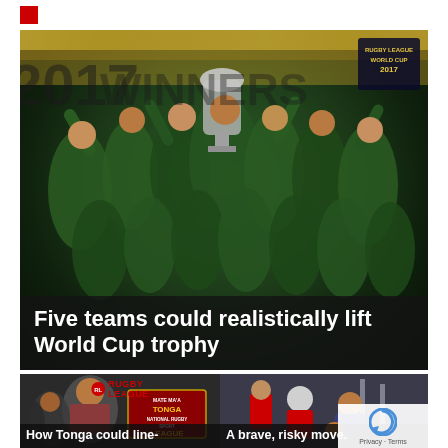[Figure (photo): Australian rugby league team celebrating winning the Rugby League World Cup 2017, players in green and gold jerseys lifting a silver trophy]
Five teams could realistically lift World Cup trophy
[Figure (photo): Rugby league feature image with Tonga National Rugby League branding and players]
How Tonga could line-
[Figure (photo): Two rugby players on a field, one appears distressed]
A brave, risky move.